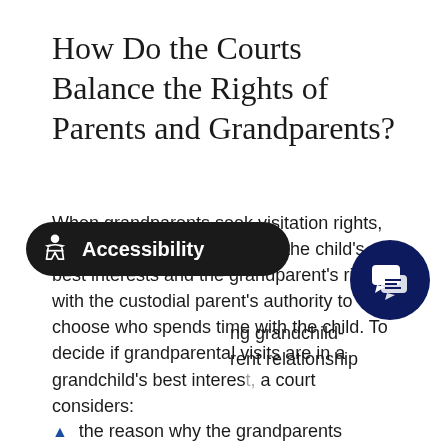How Do the Courts Balance the Rights of Parents and Grandparents?
When grandparents seek visitation rights, Arizona courts try to balance the child's best interests and the grandparent's rights with the custodial parent's authority to choose who spends time with the child. To decide if grandparental visits are in a grandchild's best interest, a court considers:
…ng grandchild-…rent relationship
the reason why the grandparents…